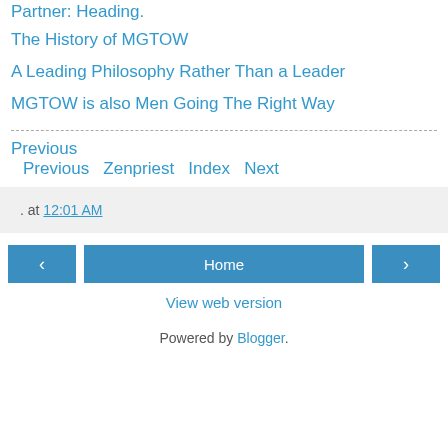Partner: Heading.
The History of MGTOW
A Leading Philosophy Rather Than a Leader
MGTOW is also Men Going The Right Way
Previous Zenpriest Index Next
. at 12:01 AM
Home
View web version
Powered by Blogger.